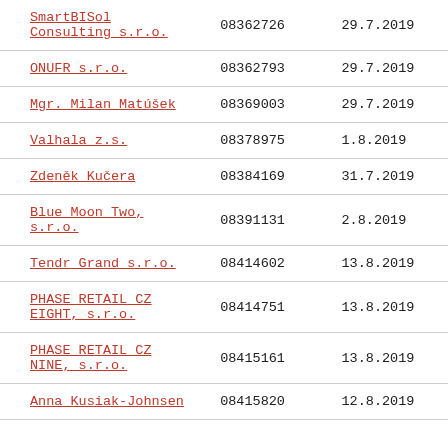| SmartBISol Consulting s.r.o. | 08362726 | 29.7.2019 |
| ONUFR s.r.o. | 08362793 | 29.7.2019 |
| Mgr. Milan Matúšek | 08369003 | 29.7.2019 |
| Valhala z.s. | 08378975 | 1.8.2019 |
| Zdeněk Kučera | 08384169 | 31.7.2019 |
| Blue Moon Two, s.r.o. | 08391131 | 2.8.2019 |
| Tendr Grand s.r.o. | 08414602 | 13.8.2019 |
| PHASE RETAIL CZ EIGHT, s.r.o. | 08414751 | 13.8.2019 |
| PHASE RETAIL CZ NINE, s.r.o. | 08415161 | 13.8.2019 |
| Anna Kusiak-Johnsen | 08415820 | 12.8.2019 |